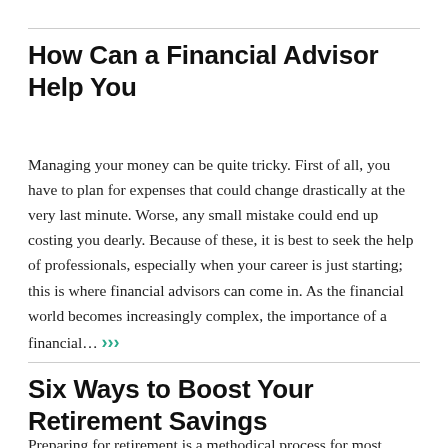How Can a Financial Advisor Help You
Managing your money can be quite tricky. First of all, you have to plan for expenses that could change drastically at the very last minute. Worse, any small mistake could end up costing you dearly. Because of these, it is best to seek the help of professionals, especially when your career is just starting; this is where financial advisors can come in. As the financial world becomes increasingly complex, the importance of a financial… >>>
Six Ways to Boost Your Retirement Savings
Preparing for retirement is a methodical process for most